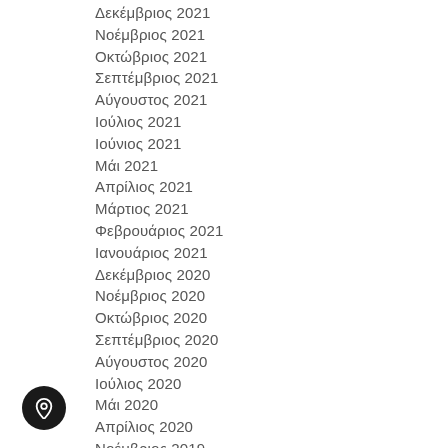Δεκέμβριος  2021
Νοέμβριος  2021
Οκτώβριος  2021
Σεπτέμβριος  2021
Αύγουστος  2021
Ιούλιος  2021
Ιούνιος  2021
Μάι  2021
Απρίλιος  2021
Μάρτιος  2021
Φεβρουάριος  2021
Ιανουάριος  2021
Δεκέμβριος  2020
Νοέμβριος  2020
Οκτώβριος  2020
Σεπτέμβριος  2020
Αύγουστος  2020
Ιούλιος  2020
Μάι  2020
Απρίλιος  2020
Νοέμβριος  2019
Σεπτέμβριος  2019